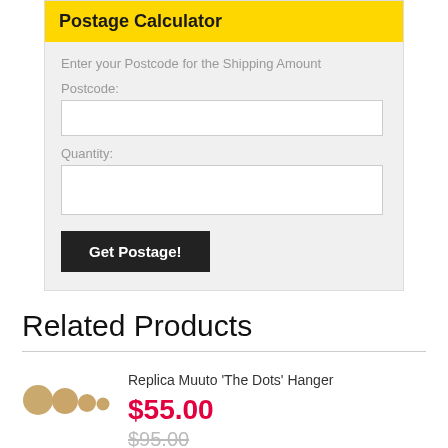Postage Calculator
Enter your Postcode for the Shipping Amount
Postcode:
Quantity:
Get Postage!
Related Products
Replica Muuto 'The Dots' Hanger
$55.00
$95.00